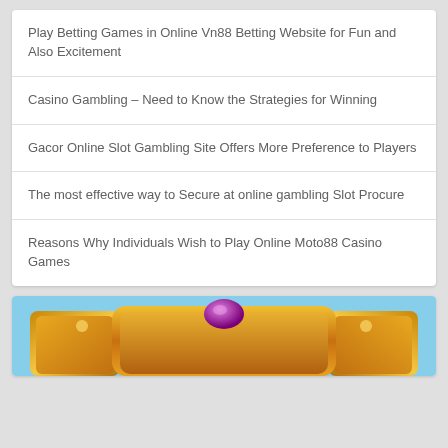Play Betting Games in Online Vn88 Betting Website for Fun and Also Excitement
Casino Gambling – Need to Know the Strategies for Winning
Gacor Online Slot Gambling Site Offers More Preference to Players
The most effective way to Secure at online gambling Slot Procure
Reasons Why Individuals Wish to Play Online Moto88 Casino Games
[Figure (photo): Decorative slot machine golden frame with a purple gem on top against a light blue background, partial view]